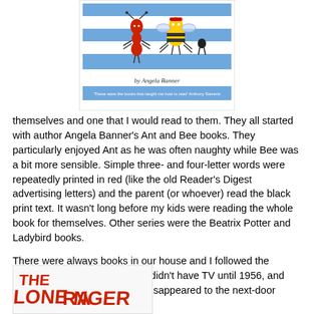[Figure (illustration): Book cover of Angela Banner's Ant and Bee book showing cartoon ant and bee characters on a blue and white striped background, with text 'by Angela Banner' and a quote at the bottom.]
themselves and one that I would read to them. They all started with author Angela Banner's Ant and Bee books. They particularly enjoyed Ant as he was often naughty while Bee was a bit more sensible. Simple three- and four-letter words were repeatedly printed in red (like the old Reader's Digest advertising letters) and the parent (or whoever) read the black print text. It wasn't long before my kids were reading the whole book for themselves. Other series were the Beatrix Potter and Ladybird books.
There were always books in our house and I followed the routine set by my parents. We didn't have TV until 1956, and only then because I regularly disappeared to the next-door neighbor's house to
[Figure (photo): Partial image of The Lone Ranger book or magazine cover showing the title text in large red letters.]